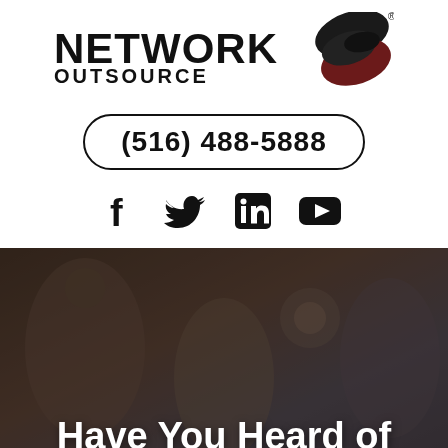[Figure (logo): Network Outsource logo with stylized overlapping circular shapes in dark red and black]
(516) 488-5888
[Figure (illustration): Social media icons: Facebook, Twitter, LinkedIn, YouTube]
[Figure (photo): Darkened photo of three people in a server room smiling and talking]
Have You Heard of